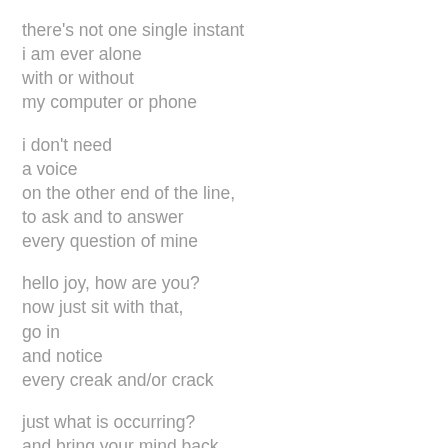there's not one single instant
i am ever alone
with or without
my computer or phone
i don't need
a voice
on the other end of the line,
to ask and to answer
every question of mine
hello joy, how are you?
now just sit with that,
go in
and notice
every creak and/or crack
just what is occurring?
and bring your mind back
where was i going
where is the next immediate idea?